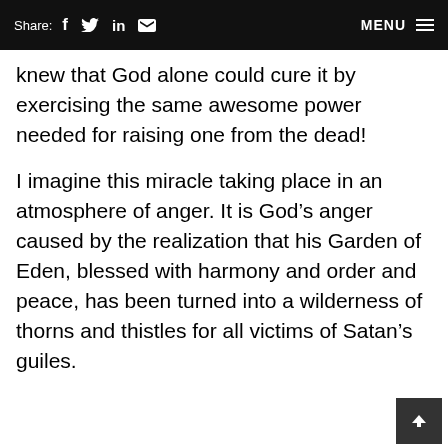Share: f  in  [mail]   MENU
knew that God alone could cure it by exercising the same awesome power needed for raising one from the dead!
I imagine this miracle taking place in an atmosphere of anger. It is God’s anger caused by the realization that his Garden of Eden, blessed with harmony and order and peace, has been turned into a wilderness of thorns and thistles for all victims of Satan’s guiles.